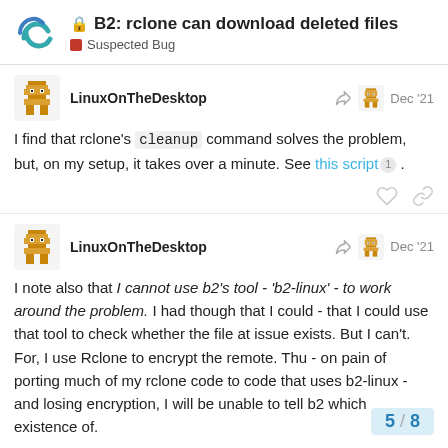B2: rclone can download deleted files — Suspected Bug
LinuxOnTheDesktop — Dec '21
I find that rclone's cleanup command solves the problem, but, on my setup, it takes over a minute. See this script 1 .
LinuxOnTheDesktop — Dec '21
I note also that I cannot use b2's tool - 'b2-linux' - to work around the problem. I had though that I could - that I could use that tool to check whether the file at issue exists. But I can't. For, I use Rclone to encrypt the remote. Thu - on pain of porting much of my rclone code to code that uses b2-linux - and losing encryption, I will be unable to tell b2 which existence of.
5 / 8